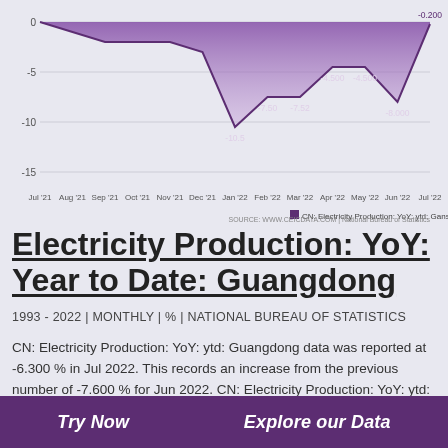[Figure (area-chart): CN: Electricity Production: YoY: ytd: Gansu]
Electricity Production: YoY: Year to Date: Guangdong
1993 - 2022 | MONTHLY | % | NATIONAL BUREAU OF STATISTICS
CN: Electricity Production: YoY: ytd: Guangdong data was reported at -6.300 % in Jul 2022. This records an increase from the previous number of -7.600 % for Jun 2022. CN: Electricity Production: YoY: ytd: Guangdong data is updated monthly, averaging 8.400 % from Feb 1993 to Jul 2022, with 297 observations. The data reached an all-time high of 39.200 % in Feb 2021 and a record low of -23.700 % in Feb 2009. CN:
Try Now   Explore our Data